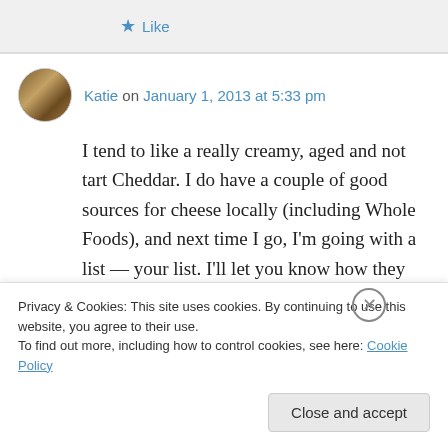[Figure (other): Like button with star icon at top of page]
Katie on January 1, 2013 at 5:33 pm
I tend to like a really creamy, aged and not tart Cheddar. I do have a couple of good sources for cheese locally (including Whole Foods), and next time I go, I'm going with a list — your list. I'll let you know how they strike me. Two of my all time favorites are the Petit Basque (horrendously expensive) and Comté. Do you ever find...
Privacy & Cookies: This site uses cookies. By continuing to use this website, you agree to their use. To find out more, including how to control cookies, see here: Cookie Policy
Close and accept